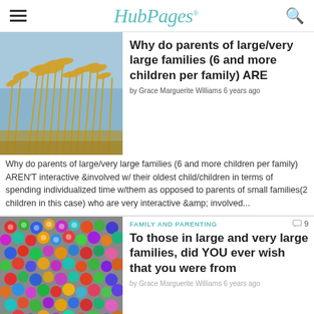HubPages
[Figure (photo): Close-up photo of golden grass/wheat stalks against a blue sky]
Why do parents of large/very large families (6 and more children per family) ARE
by Grace Marguerite Williams 6 years ago
Why do parents of large/very large families (6 and more children per family) AREN'T interactive &involved w/ their oldest child/children in terms of spending individualized time w/them as opposed to parents of small families(2 children in this case) who are very interactive &amp; involved...
FAMILY AND PARENTING
[Figure (photo): Close-up photo of colorful plastic beads/tubes in many colors]
To those in large and very large families, did YOU ever wish that you were from
by Grace Marguerite Williams 6 years ago